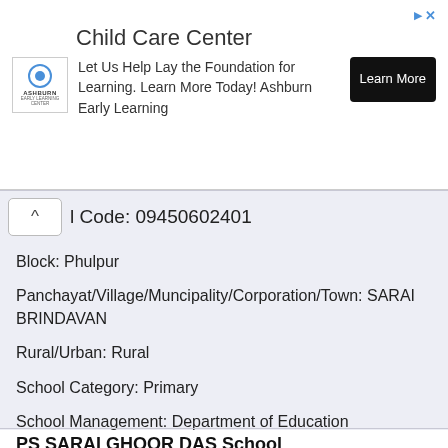[Figure (other): Advertisement banner for Ashburn Child Care Center with logo, text, and Learn More button]
l Code: 09450602401
Block: Phulpur
Panchayat/Village/Muncipality/Corporation/Town: SARAI BRINDAVAN
Rural/Urban: Rural
School Category: Primary
School Management: Department of Education
PS SARAI GHOOR DAS School
PS SARAI GHOOR DAS School is located at Allahabad district of Uttar Pradesh.
School Code: 09450600101